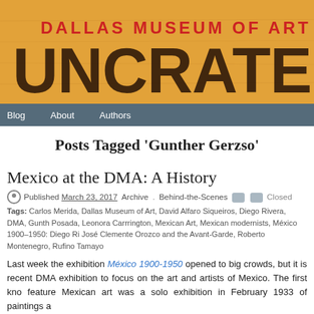[Figure (logo): Dallas Museum of Art Uncrated blog header banner on orange/tan wooden background. Red bold text 'DALLAS MUSEUM OF ART' above large dark stencil text 'UNCRATED'.]
Blog   About   Authors
Posts Tagged 'Gunther Gerzso'
Mexico at the DMA: A History
Published March 23, 2017 Archive . Behind-the-Scenes  Closed
Tags: Carlos Merida, Dallas Museum of Art, David Alfaro Siqueiros, Diego Rivera, DMA, Gunth... Posada, Leonora Carrrington, Mexican Art, Mexican modernists, México 1900–1950: Diego Ri... José Clemente Orozco and the Avant-Garde, Roberto Montenegro, Rufino Tamayo
Last week the exhibition México 1900-1950 opened to big crowds, but it is not the first recent DMA exhibition to focus on the art and artists of Mexico. The first kno... feature Mexican art was a solo exhibition in February 1933 of paintings a...